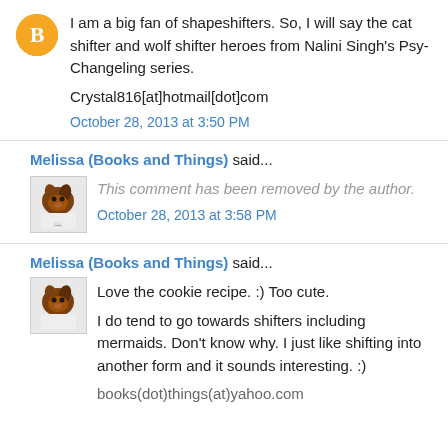I am a big fan of shapeshifters. So, I will say the cat shifter and wolf shifter heroes from Nalini Singh's Psy-Changeling series.

Crystal816[at]hotmail[dot]com
October 28, 2013 at 3:50 PM
Melissa (Books and Things) said...
This comment has been removed by the author.
October 28, 2013 at 3:58 PM
Melissa (Books and Things) said...
Love the cookie recipe. :) Too cute.

I do tend to go towards shifters including mermaids. Don't know why. I just like shifting into another form and it sounds interesting. :)

books(dot)things(at)yahoo.com